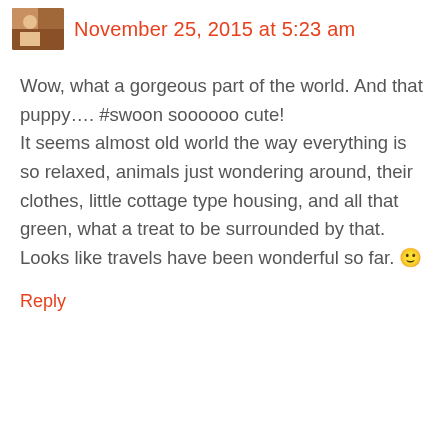November 25, 2015 at 5:23 am
Wow, what a gorgeous part of the world. And that puppy…. #swoon soooooo cute!
It seems almost old world the way everything is so relaxed, animals just wondering around, their clothes, little cottage type housing, and all that green, what a treat to be surrounded by that.
Looks like travels have been wonderful so far. 🙂
Reply